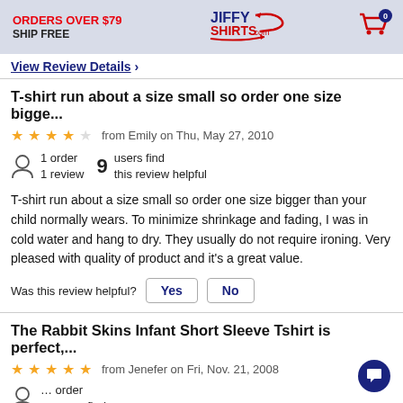ORDERS OVER $79 SHIP FREE | JIFFY SHIRTS.com | Cart: 0
View Review Details >
T-shirt run about a size small so order one size bigge...
★★★★☆ from Emily on Thu, May 27, 2010
1 order 1 review | 9 users find this review helpful
T-shirt run about a size small so order one size bigger than your child normally wears. To minimize shrinkage and fading, I was in cold water and hang to dry. They usually do not require ironing. Very pleased with quality of product and it's a great value.
Was this review helpful? Yes No
The Rabbit Skins Infant Short Sleeve Tshirt is perfect,...
★★★★★ from Jenefer on Fri, Nov. 21, 2008